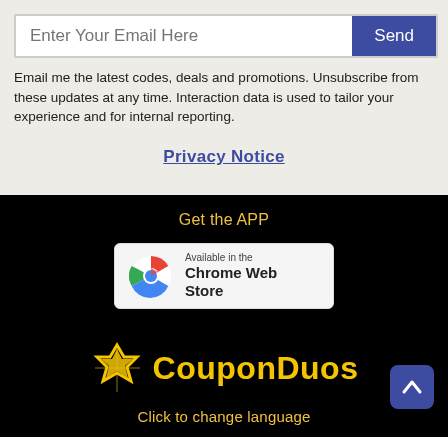Enter Your Email Here
Email me the latest codes, deals and promotions. Unsubscribe from these updates at any time. Interaction data is used to tailor your experience and for internal reporting.
Privacy Notice
Get the APP
[Figure (logo): Available in the Chrome Web Store badge with Chrome logo]
[Figure (logo): CouponDuos logo with yellow star/shield icon and yellow bold text]
Click to change language